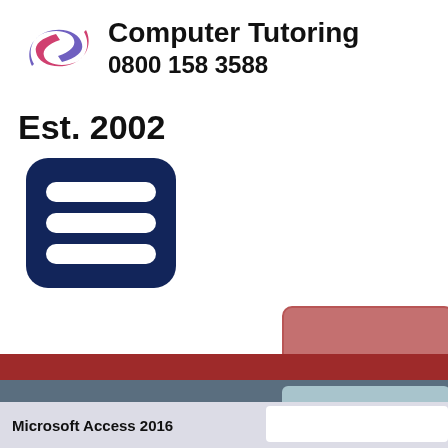[Figure (logo): Computer Tutoring logo with stylized S in purple/pink]
Computer Tutoring 0800 158 3588
Est. 2002
[Figure (other): Hamburger menu icon with dark navy background and three horizontal white bars]
[Figure (other): Pink/rose colored button (partially visible, no text)]
Course Search
Microsoft Access 2016